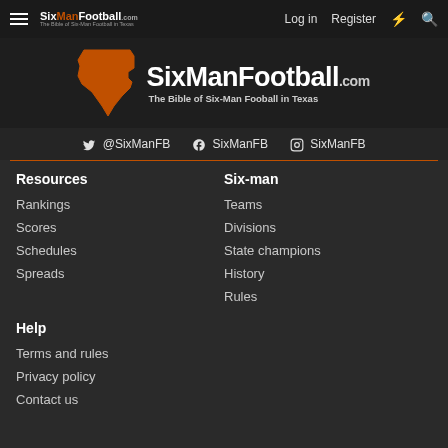≡ SixManFootball.com  Log in  Register  ⚡  🔍
[Figure (logo): SixManFootball.com logo with orange Texas state silhouette and bold white text reading SixManFootball.com, The Bible of Six-Man Fooball in Texas]
@SixManFB  SixManFB  SixManFB
Resources
Rankings
Scores
Schedules
Spreads
Six-man
Teams
Divisions
State champions
History
Rules
Help
Terms and rules
Privacy policy
Contact us